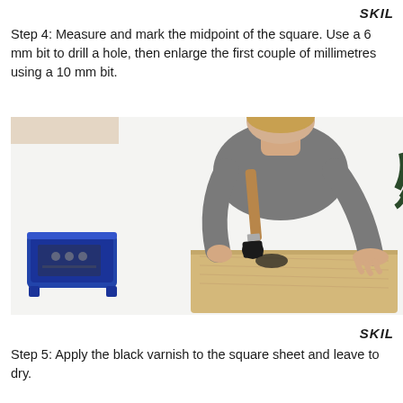SKIL
Step 4: Measure and mark the midpoint of the square. Use a 6 mm bit to drill a hole, then enlarge the first couple of millimetres using a 10 mm bit.
[Figure (photo): A person applying black varnish with a paintbrush onto a light wood board. A blue paint tray with accessories sits to the left. White background.]
SKIL
Step 5: Apply the black varnish to the square sheet and leave to dry.